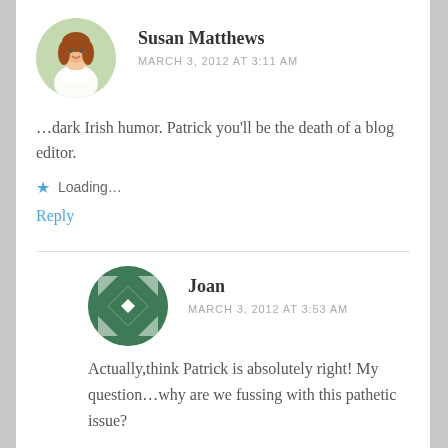Susan Matthews
MARCH 3, 2012 AT 3:11 AM
…dark Irish humor. Patrick you'll be the death of a blog editor.
Loading...
Reply
Joan
MARCH 3, 2012 AT 3:53 AM
Actually,think Patrick is absolutely right! My question…why are we fussing with this pathetic issue?